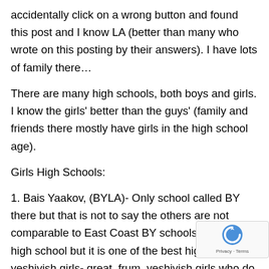accidentally click on a wrong button and found this post and I know LA (better than many who wrote on this posting by their answers). I have lots of family there…
There are many high schools, both boys and girls. I know the girls' better than the guys' (family and friends there mostly have girls in the high school age).
Girls High Schools:
1. Bais Yaakov, (BYLA)- Only school called BY there but that is not to say the others are not comparable to East Coast BY schools. It is only a high school but it is one of the best high school for yeshivish girls- great, frum, yeshivish girls who do tons of chesed, run chai lifeline programs ect. # in the grade can range fro 80, and can have 12+ get accepted to BJJ, 12+ to Hadar every year (quite impressive). Plus others who